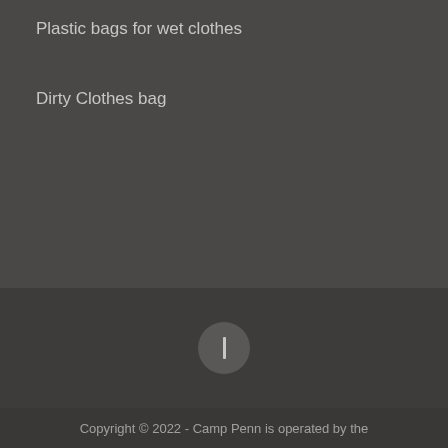Plastic bags for wet clothes
Dirty Clothes bag
[Figure (other): A circular icon button with a vertical bar/pause symbol on a dark background strip]
Copyright © 2022 - Camp Penn is operated by the